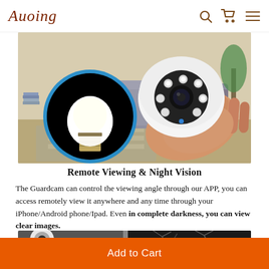Auoing
[Figure (photo): Product photo showing a hand holding a white dome security camera with IR LEDs, alongside a circular inset showing a light bulb base (E27 socket), set against a living room background with sofa and rug.]
Remote Viewing & Night Vision
The Guardcam can control the viewing angle through our APP, you can access remotely view it anywhere and any time through your iPhone/Android phone/Ipad. Even in complete darkness, you can view clear images.
[Figure (photo): Partial bottom strip showing a security camera mounted on ceiling and a dark night-vision scene.]
Add to Cart